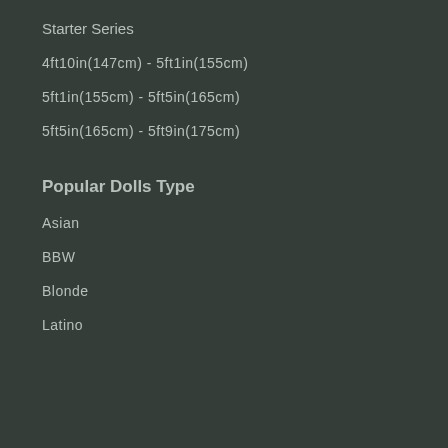Starter Series
4ft10in(147cm) - 5ft1in(155cm)
5ft1in(155cm) - 5ft5in(165cm)
5ft5in(165cm) - 5ft9in(175cm)
Popular Dolls Type
Asian
BBW
Blonde
Latino